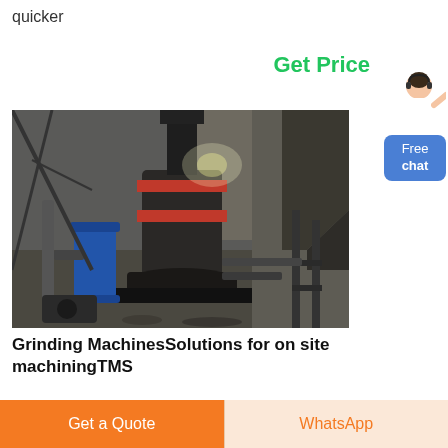quicker
Get Price
[Figure (photo): Industrial grinding machine in a factory setting, showing large cylindrical mill equipment with pipes, conveyors, and industrial structures in the background.]
Grinding MachinesSolutions for on site machiningTMS
Free chat
Get a Quote
WhatsApp